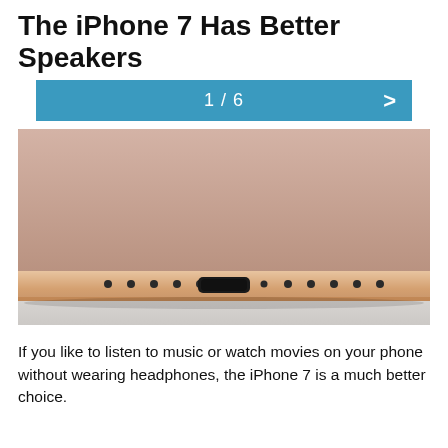The iPhone 7 Has Better Speakers
[Figure (other): Navigation bar showing slide 1 of 6 with a right arrow, blue background]
[Figure (photo): Close-up photo of the bottom edge of a rose gold iPhone 7, showing speaker grilles, Lightning connector port, and microphone holes]
If you like to listen to music or watch movies on your phone without wearing headphones, the iPhone 7 is a much better choice.